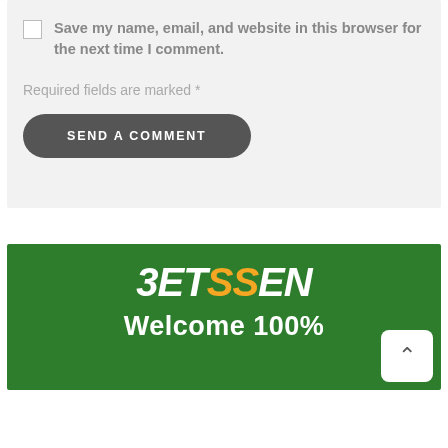Save my name, email, and website in this browser for the next time I comment.
Required fields are marked *
SEND A COMMENT
[Figure (logo): BETSSEN logo in white and orange italic text on green background, with 'Welcome 100%' text below]